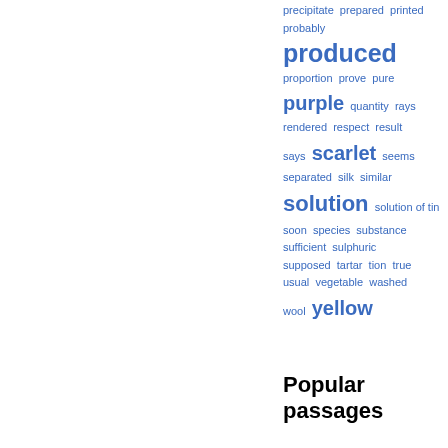[Figure (infographic): Word cloud in blue showing terms: precipitate, prepared, printed, probably, produced (large), proportion, prove, pure, purple (large), quantity, rays, rendered, respect, result, says, scarlet (large), seems, separated, silk, similar, solution (large), solution of tin, soon, species, substance, sufficient, sulphuric, supposed, tartar, tion, true, usual, vegetable, washed, wool, yellow (large)]
Popular passages